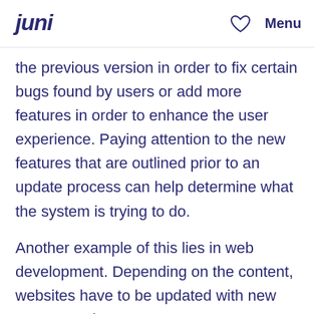juni | ♡ | Menu
the previous version in order to fix certain bugs found by users or add more features in order to enhance the user experience. Paying attention to the new features that are outlined prior to an update process can help determine what the system is trying to do.
Another example of this lies in web development. Depending on the content, websites have to be updated with new content and